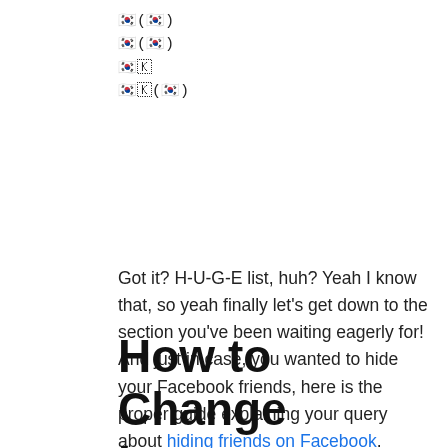한국(한국)
한국(한국)
한국한국
한국한국(한국)
Got it? H-U-G-E list, huh? Yeah I know that, so yeah finally let's get down to the section you've been waiting eagerly for! And just in case, you wanted to hide your Facebook friends, here is the proper guide explaining your query about hiding friends on Facebook.
How to Change Language on Facebook:-